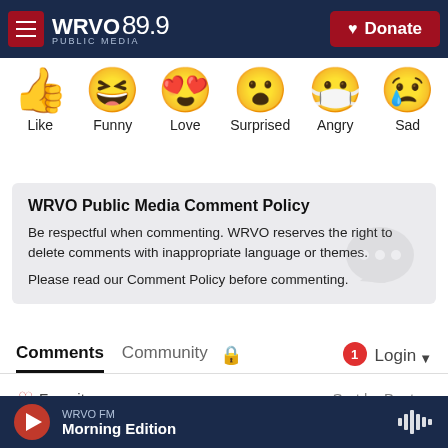WRVO PUBLIC MEDIA 89.9 | Donate
[Figure (illustration): Six emoji reaction icons in a row: thumbs up (Like), laughing face (Funny), heart eyes (Love), surprised face (Surprised), crying/masked face (Angry), sad face with tear (Sad)]
WRVO Public Media Comment Policy
Be respectful when commenting. WRVO reserves the right to delete comments with inappropriate language or themes. Please read our Comment Policy before commenting.
Comments | Community | Login
♡ Favorite    Sort by Best ▼
WRVO FM — Morning Edition